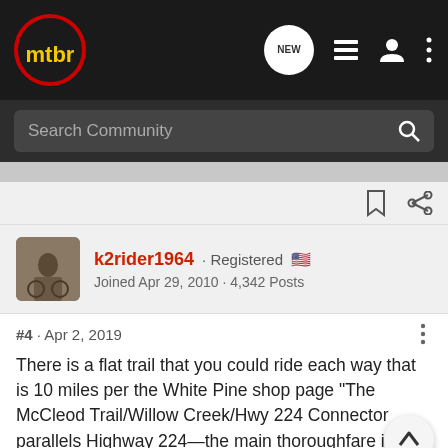[Figure (screenshot): MTBR mountain bike forum website header with dark navigation bar showing mtbr logo, NEW button, list icon, person icon, and dots menu icon]
[Figure (screenshot): Search Community search bar on dark background with magnifying glass icon]
k2rider1964 · Registered 🇺🇸
Joined Apr 29, 2010 · 4,342 Posts
#4 · Apr 2, 2019
There is a flat trail that you could ride each way that is 10 miles per the White Pine shop page "The McCleod Trail/Willow Creek/Hwy 224 Connector parallels Highway 224—the main thoroughfare in and out of town—on the east side of the highway. Paved or well-grated, you can ride this trail all the way from Kimball Junction's Redstone/Newpark area to Downtown Park City...park benches...
[Figure (screenshot): Chevrolet advertisement overlay showing 'THE NEW 2022 SILVERADO.' text with Explore button and truck image with Chevrolet logo]